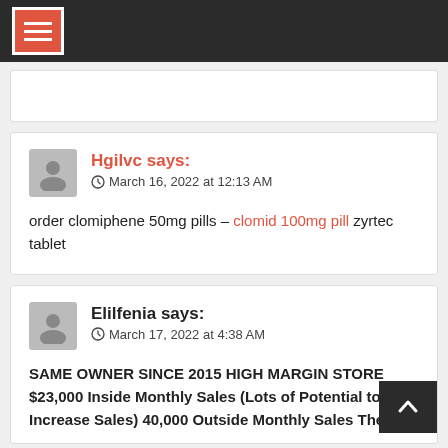Navigation menu header bar
Hgilvc says: March 16, 2022 at 12:13 AM
order clomiphene 50mg pills – clomid 100mg pill zyrtec tablet
Elilfenia says: March 17, 2022 at 4:38 AM
SAME OWNER SINCE 2015 HIGH MARGIN STORE $23,000 Inside Monthly Sales (Lots of Potential to Increase Sales) 40,000 Outside Monthly Sales The